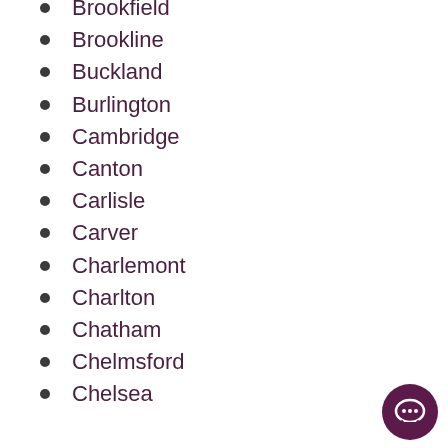Brookfield
Brookline
Buckland
Burlington
Cambridge
Canton
Carlisle
Carver
Charlemont
Charlton
Chatham
Chelmsford
Chelsea